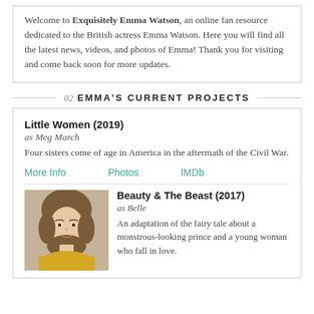Welcome to Exquisitely Emma Watson, an online fan resource dedicated to the British actress Emma Watson. Here you will find all the latest news, videos, and photos of Emma! Thank you for visiting and come back soon for more updates.
02 EMMA'S CURRENT PROJECTS
Little Women (2019)
as Meg March
Four sisters come of age in America in the aftermath of the Civil War.
More Info
Photos
IMDb
[Figure (photo): Photo of Emma Watson as Belle]
Beauty & The Beast (2017)
as Belle
An adaptation of the fairy tale about a monstrous-looking prince and a young woman who fall in love.